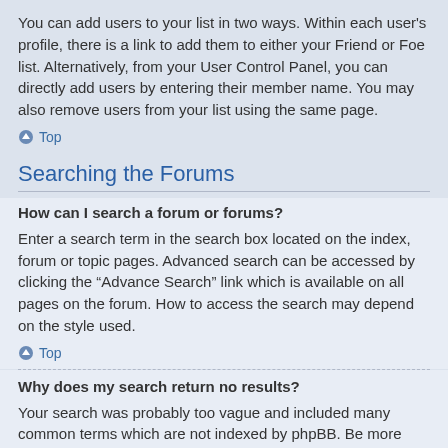You can add users to your list in two ways. Within each user's profile, there is a link to add them to either your Friend or Foe list. Alternatively, from your User Control Panel, you can directly add users by entering their member name. You may also remove users from your list using the same page.
Top
Searching the Forums
How can I search a forum or forums?
Enter a search term in the search box located on the index, forum or topic pages. Advanced search can be accessed by clicking the “Advance Search” link which is available on all pages on the forum. How to access the search may depend on the style used.
Top
Why does my search return no results?
Your search was probably too vague and included many common terms which are not indexed by phpBB. Be more specific and use the options available within Advanced search.